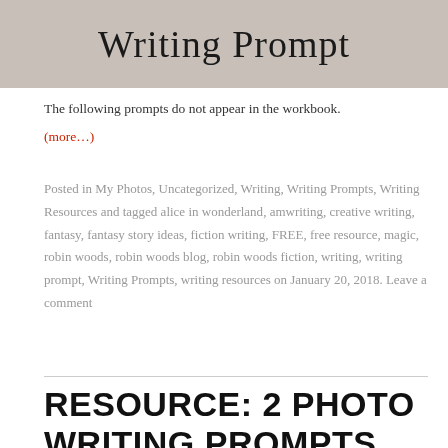[Figure (photo): Banner image with handwritten-style text reading 'Writing Prompt' on a textured gray/beige background]
The following prompts do not appear in the workbook.
(more…)
Posted in My Photos, Uncategorized, Writing, Writing Prompts, Writing Resources and tagged alice in wonderland, amwriting, creative writing, fantasy, fantasy story ideas, fiction writing, FREE, free resource, magic, robin woods, robin woods blog, robin woods fiction, writing, writing prompt, Writing Prompts, writing resources on January 20, 2018. Leave a comment
RESOURCE: 2 PHOTO WRITING PROMPTS